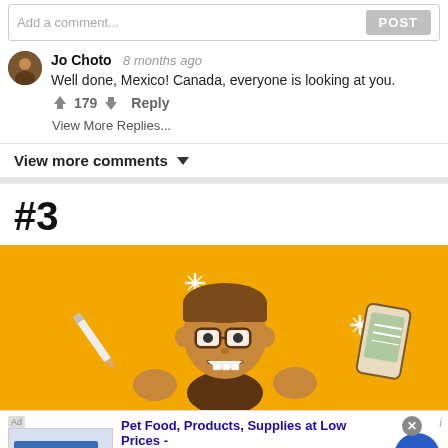Add a comment...
POST
Jo Choto  8 months ago
Well done, Mexico! Canada, everyone is looking at you.
↑ 179 ↓  Reply
View More Replies...
View more comments ∨
#3
[Figure (illustration): Yellow background illustration showing a cartoon man with glasses and brown hair looking surprised, with a pencil, sparkle stars, and a smartphone around him]
Pet Food, Products, Supplies at Low Prices -
Pay the lowest prices on pet supplies at Chewy.com
chewy.com